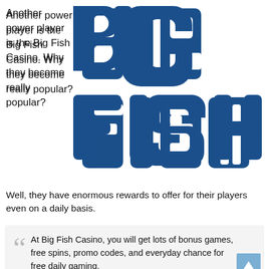Another power player is the Big Fish Casino. Why they become really popular?
[Figure (logo): Big Fish Casino logo — bold dark blue uppercase text 'BIG' on top row and 'FISH' on bottom row]
Well, they have enormous rewards to offer for their players even on a daily basis.
At Big Fish Casino, you will get lots of bonus games, free spins, promo codes, and everyday chance for free daily gaming.